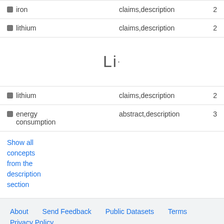| Concept | Location | Count |
| --- | --- | --- |
| iron | claims,description | 2 |
| lithium | claims,description | 2 |
| lithium | claims,description | 2 |
| energy consumption | abstract,description | 3 |
Li·
Show all concepts from the description section
About   Send Feedback   Public Datasets   Terms   Privacy Policy